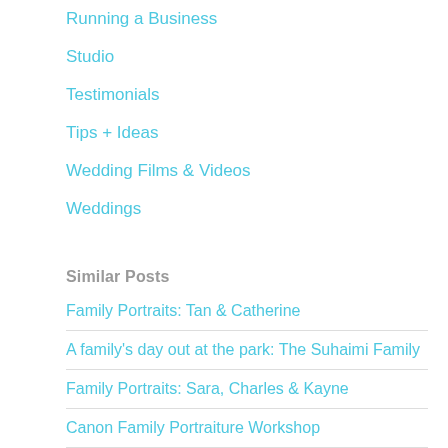Running a Business
Studio
Testimonials
Tips + Ideas
Wedding Films & Videos
Weddings
Similar Posts
Family Portraits: Tan & Catherine
A family's day out at the park: The Suhaimi Family
Family Portraits: Sara, Charles & Kayne
Canon Family Portraiture Workshop